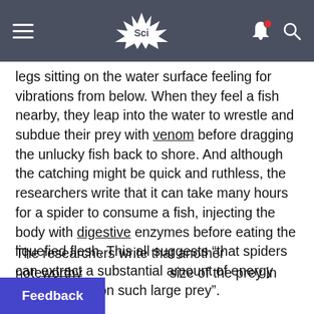Sci
legs sitting on the water surface feeling for vibrations from below. When they feel a fish nearby, they leap into the water to wrestle and subdue their prey with venom before dragging the unlucky fish back to shore. And although the catching might be quick and ruthless, the researchers write that it can take many hours for a spider to consume a fish, injecting the body with digestive enzymes before eating the liquefied flesh. This all suggests “that spiders can extract a substantial amount of energy while feeding on such large prey”.
The researchers write that another noteworthy size of the prey in relation to the